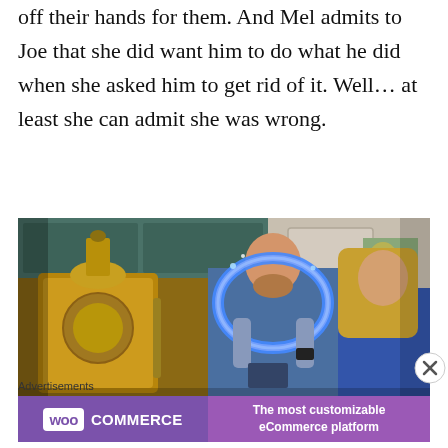off their hands for them. And Mel admits to Joe that she did want him to do what he did when she asked him to get rid of it. Well… at least she can admit she was wrong.
[Figure (photo): A man holding a glowing blue oval light-up ring frame in a kitchen, showing it to a blonde woman. A large ornate copper/gold espresso machine is visible on the left side of the kitchen.]
Advertisements
[Figure (logo): WooCommerce advertisement banner: WooCommerce logo on purple background with text 'The most customizable eCommerce platform']